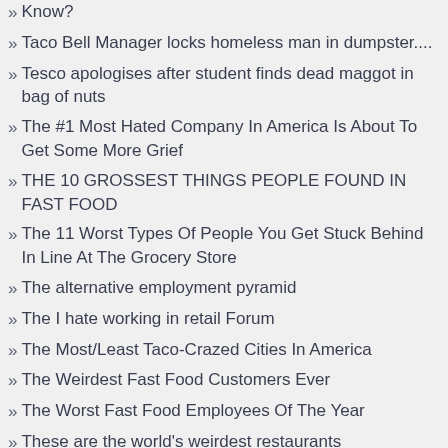Know?
Taco Bell Manager locks homeless man in dumpster....
Tesco apologises after student finds dead maggot in bag of nuts
The #1 Most Hated Company In America Is About To Get Some More Grief
THE 10 GROSSEST THINGS PEOPLE FOUND IN FAST FOOD
The 11 Worst Types Of People You Get Stuck Behind In Line At The Grocery Store
The alternative employment pyramid
The I hate working in retail Forum
The Most/Least Taco-Crazed Cities In America
The Weirdest Fast Food Customers Ever
The Worst Fast Food Employees Of The Year
These are the world's weirdest restaurants
Things I've Learned From Being A Waitress
This Coffeehouse Will Charge You Less If You're Nice,